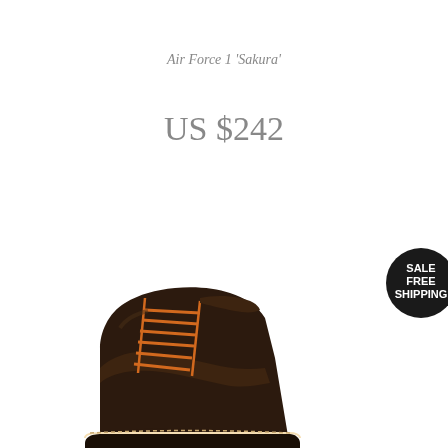Air Force 1 'Sakura'
US $242
[Figure (illustration): Dark brown leather high-top boot with orange laces, shown partially at bottom of image]
[Figure (infographic): Black circular badge with white text reading SALE FREE SHIPPING]